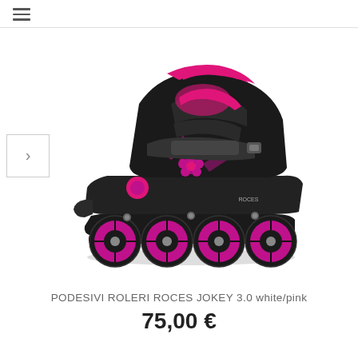≡
[Figure (photo): Black and pink inline roller skate (Roces Jokey 3.0) shown from the side. The skate has a black boot with bright pink/magenta accents, floral graphic pattern, velcro strap closure, and four pink/purple inline wheels on a black frame.]
PODESIVI ROLERI ROCES JOKEY 3.0 white/pink
75,00 €